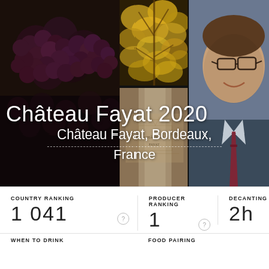[Figure (photo): Collage of three photos: dark purple grapes close-up on the left, autumn vine leaves and a wine bottle/label in the center strip, and a smiling older man wearing glasses and a tie on the right]
Château Fayat 2020
Château Fayat, Bordeaux, France
| COUNTRY RANKING | PRODUCER RANKING | DECANTING TIME |
| --- | --- | --- |
| 1 041 | 1 | 2h |
WHEN TO DRINK
FOOD PAIRING